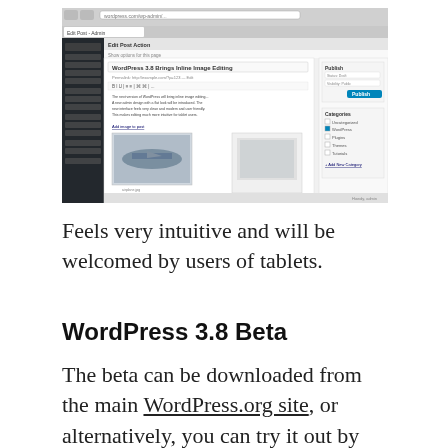[Figure (screenshot): Screenshot of WordPress admin interface showing the post editor with inline image editing functionality, including a sidebar with categories and publish settings.]
Feels very intuitive and will be welcomed by users of tablets.
WordPress 3.8 Beta
The beta can be downloaded from the main WordPress.org site, or alternatively, you can try it out by installing the WordPress Beta